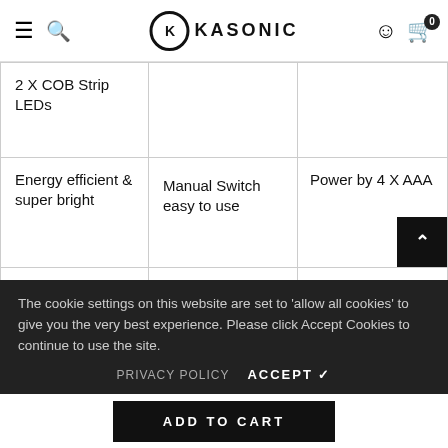KASONIC — navigation bar with hamburger menu, search, logo, account icon, cart (0)
2 X COB Strip LEDs
Energy efficient & super bright
Manual Switch easy to use
Power by 4 X AAA
consumes less power
Battery (Not include)
produced
The cookie settings on this website are set to 'allow all cookies' to give you the very best experience. Please click Accept Cookies to continue to use the site.
PRIVACY POLICY   ACCEPT ✔
ADD TO CART